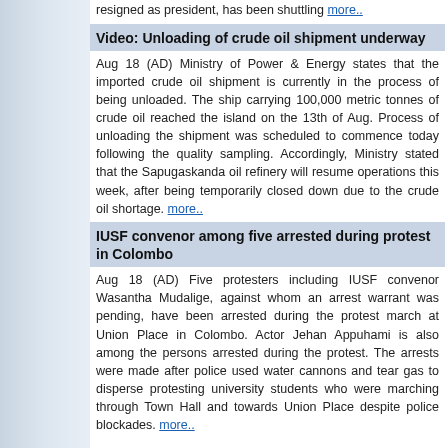resigned as president, has been shuttling more..
Video: Unloading of crude oil shipment underway
Aug 18 (AD) Ministry of Power & Energy states that the imported crude oil shipment is currently in the process of being unloaded. The ship carrying 100,000 metric tonnes of crude oil reached the island on the 13th of Aug. Process of unloading the shipment was scheduled to commence today following the quality sampling. Accordingly, Ministry stated that the Sapugaskanda oil refinery will resume operations this week, after being temporarily closed down due to the crude oil shortage. more..
IUSF convenor among five arrested during protest in Colombo
Aug 18 (AD) Five protesters including IUSF convenor Wasantha Mudalige, against whom an arrest warrant was pending, have been arrested during the protest march at Union Place in Colombo. Actor Jehan Appuhami is also among the persons arrested during the protest. The arrests were made after police used water cannons and tear gas to disperse protesting university students who were marching through Town Hall and towards Union Place despite police blockades. more..
« Previous  1 2 3 4 5 6 7 8 9 10 11 12 13